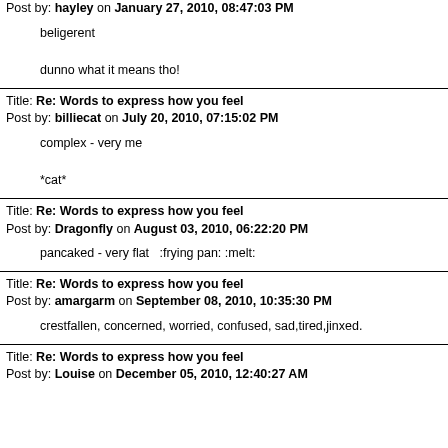Post by: hayley on January 27, 2010, 08:47:03 PM
beligerent

dunno what it means tho!
Title: Re: Words to express how you feel
Post by: billiecat on July 20, 2010, 07:15:02 PM
complex - very me

*cat*
Title: Re: Words to express how you feel
Post by: Dragonfly on August 03, 2010, 06:22:20 PM
pancaked - very flat  :frying pan: :melt:
Title: Re: Words to express how you feel
Post by: amargarm on September 08, 2010, 10:35:30 PM
crestfallen, concerned, worried, confused, sad,tired,jinxed.
Title: Re: Words to express how you feel
Post by: Louise on December 05, 2010, 12:40:27 AM